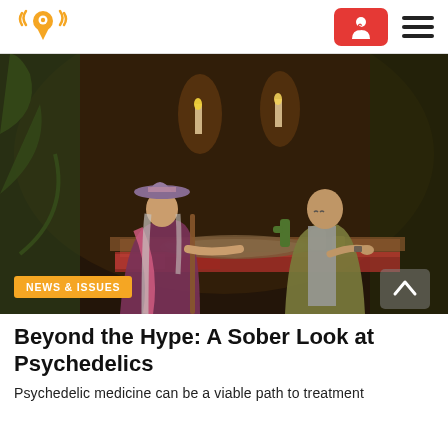[Figure (logo): Radio/podcast logo: orange location pin with sound waves, in orange color]
[Figure (photo): Two people in a dimly lit, plant-filled space: a person in a wide-brimmed hat and purple/pink robe holding a staff, and an older bald man in an olive jacket gesturing toward a table with items including a cactus and cups. Candles in background.]
NEWS & ISSUES
Beyond the Hype: A Sober Look at Psychedelics
Psychedelic medicine can be a viable path to treatment